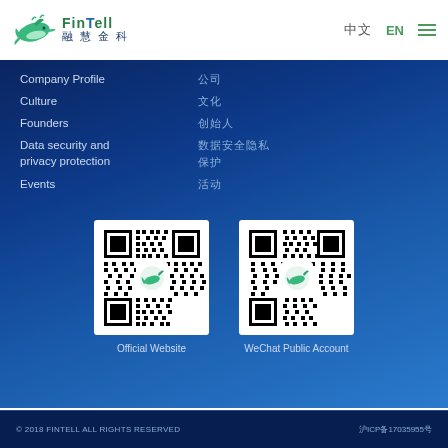[Figure (logo): FinTell 融慧金科 logo with dolphin icon in white header bar]
中文  EN  ☰
Company Profile  公司
Culture  文化
Founders  创始人
Data security and privacy protection  数据安全与隐私保护
Events  活动
[Figure (other): QR code for Official Website with FinTell logo in center]
Official Website
[Figure (other): QR code for WeChat Public Account with FinTell logo in center]
WeChat Public Account
© 2018 FINTELL ALL RIGHTS RESERVED  沪ICP备17035955号